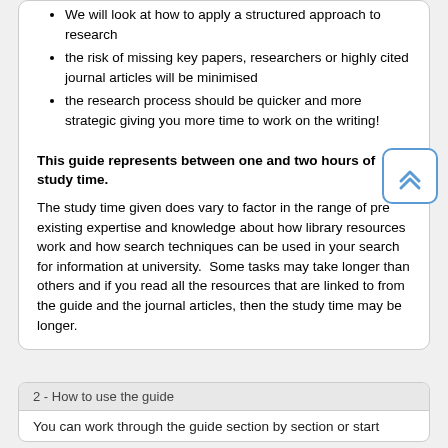We will look at how to apply a structured approach to research
the risk of missing key papers, researchers or highly cited journal articles will be minimised
the research process should be quicker and more strategic giving you more time to work on the writing!
This guide represents between one and two hours of study time.
The study time given does vary to factor in the range of pre existing expertise and knowledge about how library resources work and how search techniques can be used in your search for information at university.  Some tasks may take longer than others and if you read all the resources that are linked to from the guide and the journal articles, then the study time may be longer.
2 - How to use the guide
You can work through the guide section by section or start